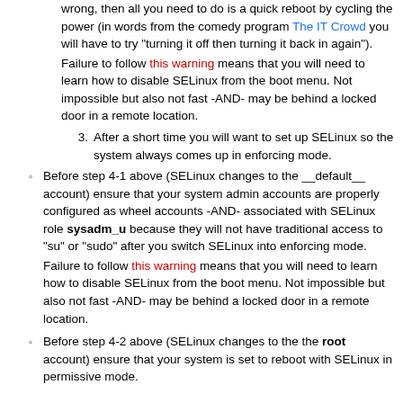wrong, then all you need to do is a quick reboot by cycling the power (in words from the comedy program The IT Crowd you will have to try "turning it off then turning it back in again"). Failure to follow this warning means that you will need to learn how to disable SELinux from the boot menu. Not impossible but also not fast -AND- may be behind a locked door in a remote location.
After a short time you will want to set up SELinux so the system always comes up in enforcing mode.
Before step 4-1 above (SELinux changes to the __default__ account) ensure that your system admin accounts are properly configured as wheel accounts -AND- associated with SELinux role sysadm_u because they will not have traditional access to "su" or "sudo" after you switch SELinux into enforcing mode. Failure to follow this warning means that you will need to learn how to disable SELinux from the boot menu. Not impossible but also not fast -AND- may be behind a locked door in a remote location.
Before step 4-2 above (SELinux changes to the the root account) ensure that your system is set to reboot with SELinux in permissive mode.